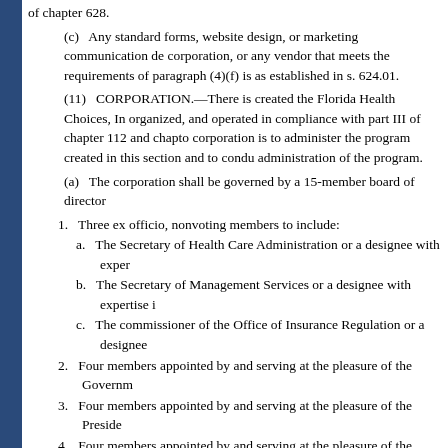of chapter 628.
(c) Any standard forms, website design, or marketing communication de corporation, or any vendor that meets the requirements of paragraph (4)(f) is as established in s. 624.01.
(11) CORPORATION.—There is created the Florida Health Choices, In organized, and operated in compliance with part III of chapter 112 and chapto corporation is to administer the program created in this section and to condu administration of the program.
(a) The corporation shall be governed by a 15-member board of director
1. Three ex officio, nonvoting members to include:
a. The Secretary of Health Care Administration or a designee with exper
b. The Secretary of Management Services or a designee with expertise i
c. The commissioner of the Office of Insurance Regulation or a designee
2. Four members appointed by and serving at the pleasure of the Governm
3. Four members appointed by and serving at the pleasure of the Preside
4. Four members appointed by and serving at the pleasure of the Speake
5. Board members may not include insurers, health insurance agents or b maintenance organizations, prepaid service providers, or any other entity, aff
(b) Members shall be appointed for terms of up to 3 years. Any member the board shall be filled for the unexpired portion of the term in the same ma
(c) The board shall select a chief executive officer for the corporation wh such other staff as may be authorized by the corporation's operating budget a
(d) Board members are entitled to receive, from funds of the corporation